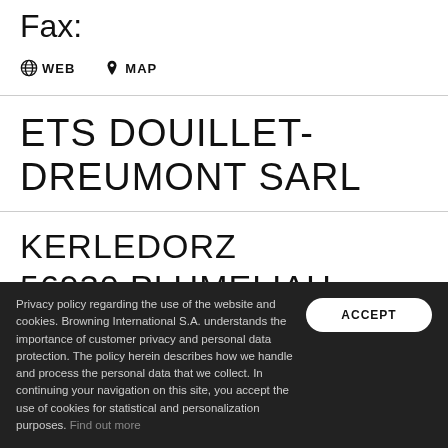Fax:
WEB  MAP
ETS DOUILLET-DREUMONT SARL
KERLEDORZ
56930 PLUMELIAU
Tel. +33 2 97 25 47 77
Privacy policy regarding the use of the website and cookies. Browning International S.A. understands the importance of customer privacy and personal data protection. The policy herein describes how we handle and process the personal data that we collect. In continuing your navigation on this site, you accept the use of cookies for statistical and personalization purposes. Find out more